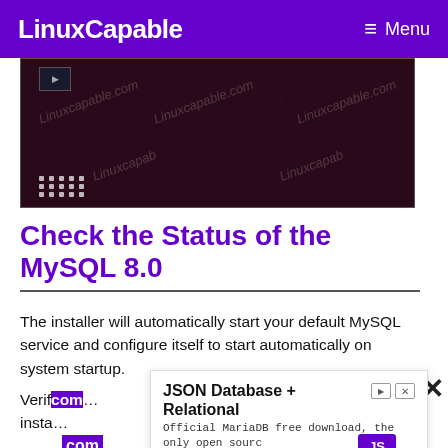LinuxCapable  ≡ Menu
[Figure (screenshot): Terminal/desktop screenshot with LinuxCapable.com watermarks on dark maroon background, grid of dots icon bottom left]
Check the Status of the MySQL 8.0
The installer will automatically start your default MySQL service and configure itself to start automatically on system startup.
Verif… after insta… com…
[Figure (other): Advertisement overlay: JSON Database + Relational - Official MariaDB free download, the only open source database to support bitemporal tables. go.mariadb.com. OPEN button.]